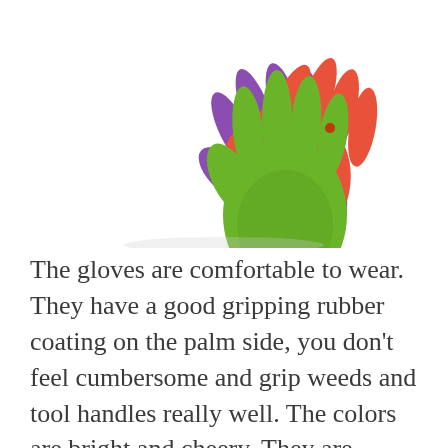[Figure (photo): Three colorful garden gloves (purple, green, and red/orange) fanned out and viewed from above, showing the palm side with rubber coating.]
The gloves are comfortable to wear. They have a good gripping rubber coating on the palm side, you don't feel cumbersome and grip weeds and tool handles really well. The colors are bright and cheery. They are perfect for just about any gardening task. If they get too dirty, just squeeze a little dishwashing detergent on them. Then, wash and rinse under the faucet. They are 6 pairs